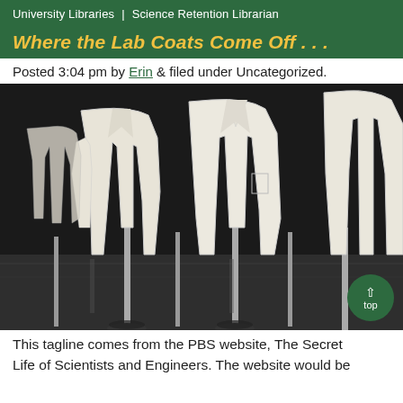University Libraries | Science Retention Librarian
Where the Lab Coats Come Off . . .
Posted 3:04 pm by Erin & filed under Uncategorized.
[Figure (photo): Several white lab coats hanging on silver coat stands in a darkened room with a reflective floor.]
This tagline comes from the PBS website, The Secret Life of Scientists and Engineers. The website would be